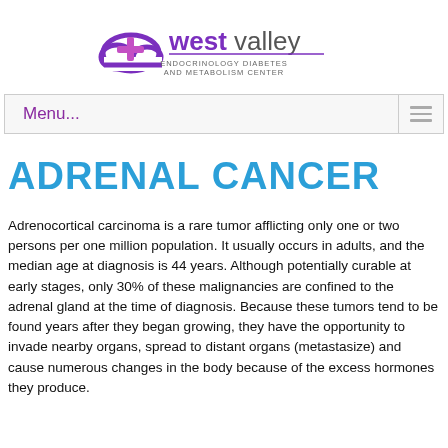[Figure (logo): West Valley Endocrinology Diabetes and Metabolism Center logo with purple cloud and cross icon, 'west valley' in purple/gray text, subtitle in gray]
Menu...
ADRENAL CANCER
Adrenocortical carcinoma is a rare tumor afflicting only one or two persons per one million population. It usually occurs in adults, and the median age at diagnosis is 44 years. Although potentially curable at early stages, only 30% of these malignancies are confined to the adrenal gland at the time of diagnosis. Because these tumors tend to be found years after they began growing, they have the opportunity to invade nearby organs, spread to distant organs (metastasize) and cause numerous changes in the body because of the excess hormones they produce.